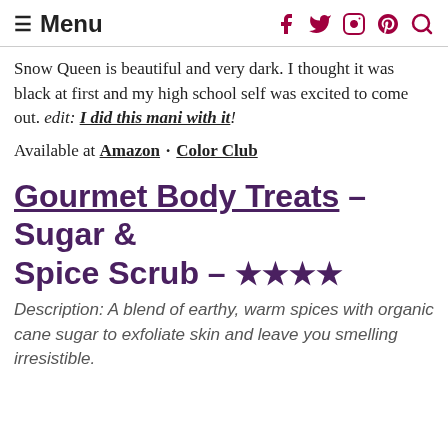≡ Menu  [social icons: Facebook, Twitter, Instagram, Pinterest, Search]
Snow Queen is beautiful and very dark. I thought it was black at first and my high school self was excited to come out. edit: I did this mani with it!
Available at Amazon · Color Club
Gourmet Body Treats – Sugar & Spice Scrub – ★★★★
Description: A blend of earthy, warm spices with organic cane sugar to exfoliate skin and leave you smelling irresistible.